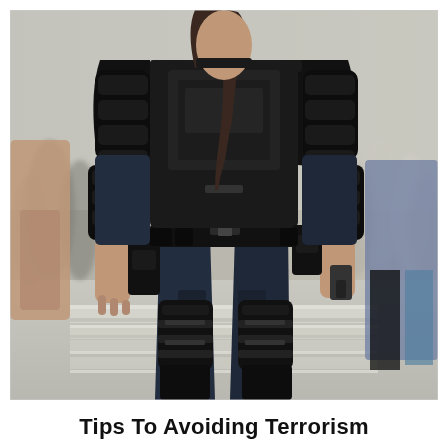[Figure (photo): A police officer in full riot/tactical gear viewed from behind, wearing a black tactical vest, knee pads, and leg armor, standing in a street with a crowd of people visible in the background.]
Tips To Avoiding Terrorism